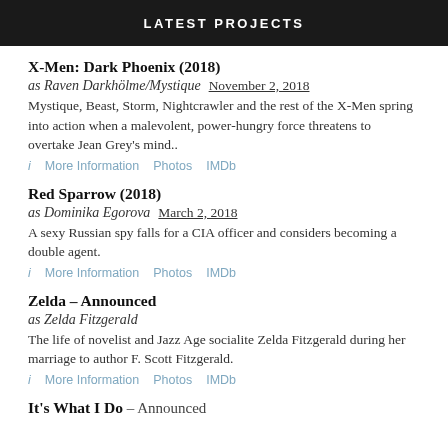LATEST PROJECTS
X-Men: Dark Phoenix (2018)
as Raven Darkhölme/Mystique  November 2, 2018
Mystique, Beast, Storm, Nightcrawler and the rest of the X-Men spring into action when a malevolent, power-hungry force threatens to overtake Jean Grey's mind..
ⓘ More Information   Photos   IMDb
Red Sparrow (2018)
as Dominika Egorova  March 2, 2018
A sexy Russian spy falls for a CIA officer and considers becoming a double agent.
ⓘ More Information   Photos   IMDb
Zelda – Announced
as Zelda Fitzgerald
The life of novelist and Jazz Age socialite Zelda Fitzgerald during her marriage to author F. Scott Fitzgerald.
ⓘ More Information   Photos   IMDb
It's What I Do – Announced